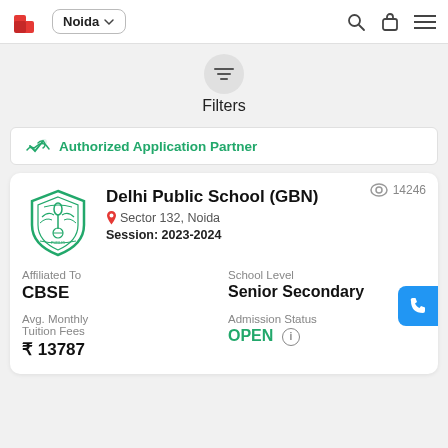Noida
Filters
Authorized Application Partner
Delhi Public School (GBN)
Sector 132, Noida
Session: 2023-2024
14246
| Affiliated To | School Level | Avg. Monthly Tuition Fees | Admission Status |
| --- | --- | --- | --- |
| CBSE | Senior Secondary | ₹ 13787 | OPEN |